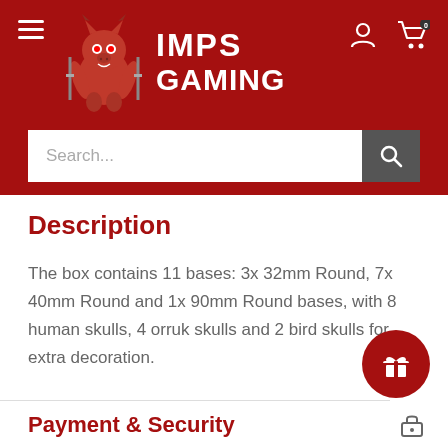[Figure (logo): Imps Gaming logo: red imp mascot holding swords with text IMPS GAMING]
Search...
Description
The box contains 11 bases: 3x 32mm Round, 7x 40mm Round and 1x 90mm Round bases, with 8 human skulls, 4 orruk skulls and 2 bird skulls for extra decoration.
Payment & Security